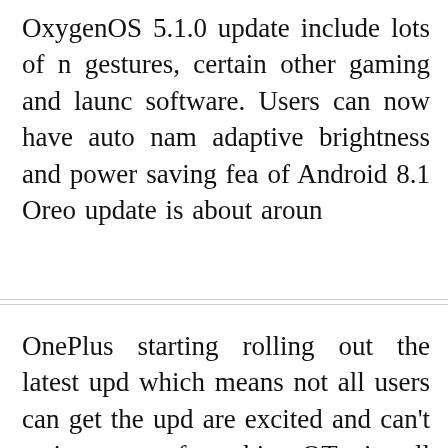OxygenOS 5.1.0 update include lots of new gestures, certain other gaming and launcher software. Users can now have auto name, adaptive brightness and power saving features of Android 8.1 Oreo update is about around
OnePlus starting rolling out the latest update, which means not all users can get the update are excited and can't wait more for this OT, install OxygenOS 5.1.0 on OnePlus 5/5T simple step by step guide. After about a month is finally rolling out Android 8.1 Oreo-based wait is over and you would not have to wait, those users who look forward to the stable